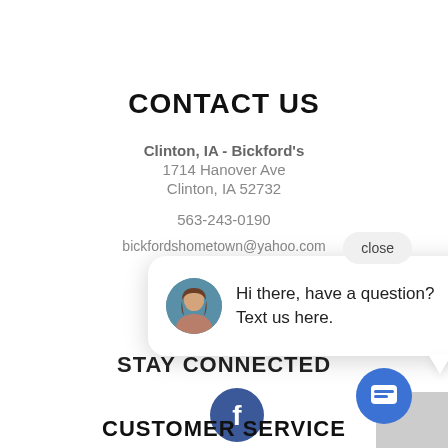CONTACT US
Clinton, IA - Bickford's
1714 Hanover Ave
Clinton, IA 52732
563-243-0190
bickfordshometown@yahoo.com
[Figure (screenshot): Chat popup with avatar photo of a woman, text 'Hi there, have a question? Text us here.' and a close button and chat icon button]
STAY CONNECTED
[Figure (logo): Facebook circular icon with white 'f' on blue background]
CUSTOMER SERVICE